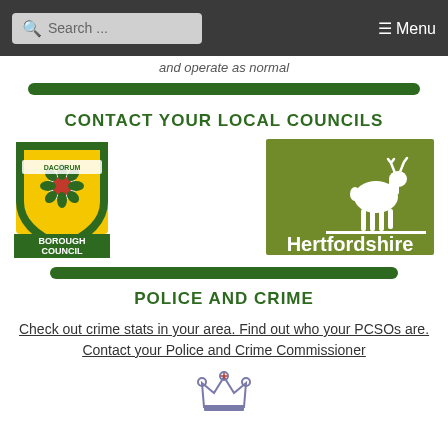Search ... ☰ Menu
and operate as normal
CONTACT YOUR LOCAL COUNCILS
[Figure (logo): Dacorum Borough Council coat of arms logo with green and yellow shield, rose emblem, and text DACORUM BOROUGH COUNCIL]
[Figure (logo): Hertfordshire County Council logo — olive green rectangle with white stag silhouette and white text Hertfordshire]
POLICE AND CRIME
Check out crime stats in your area. Find out who your PCSOs are. Contact your Police and Crime Commissioner
[Figure (logo): Police crown/crest emblem at bottom of page]